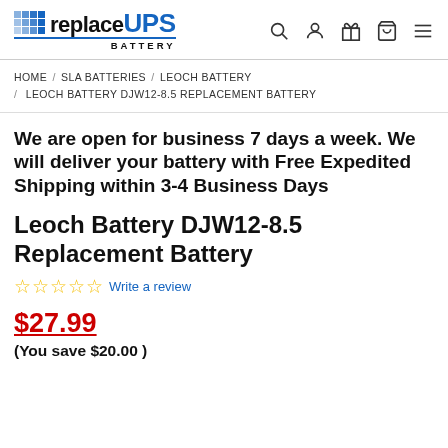replaceUPS BATTERY — navigation header with search, account, gift, cart, and menu icons
HOME / SLA BATTERIES / LEOCH BATTERY / LEOCH BATTERY DJW12-8.5 REPLACEMENT BATTERY
We are open for business 7 days a week. We will deliver your battery with Free Expedited Shipping within 3-4 Business Days
Leoch Battery DJW12-8.5 Replacement Battery
☆☆☆☆☆ Write a review
$27.99
(You save $20.00 )